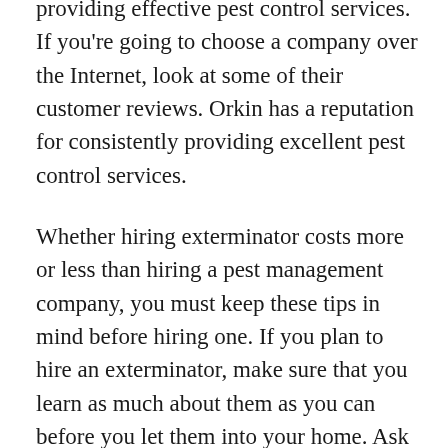providing effective pest control services. If you're going to choose a company over the Internet, look at some of their customer reviews. Orkin has a reputation for consistently providing excellent pest control services.
Whether hiring exterminator costs more or less than hiring a pest management company, you must keep these tips in mind before hiring one. If you plan to hire an exterminator, make sure that you learn as much about them as you can before you let them into your home. Ask questions and read reviews. If you keep these things in mind, you'll find the best way to get rid of ants and other pests that will be a big help in your home.